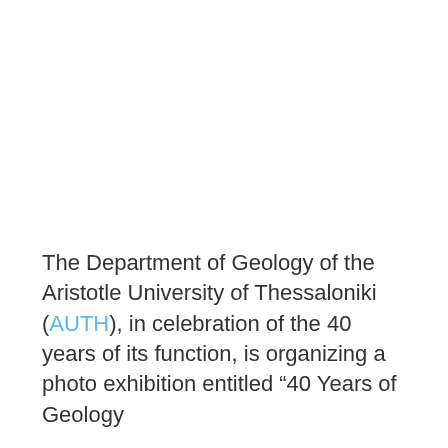The Department of Geology of the Aristotle University of Thessaloniki (AUTH), in celebration of the 40 years of its function, is organizing a photo exhibition entitled “40 Years of Geology